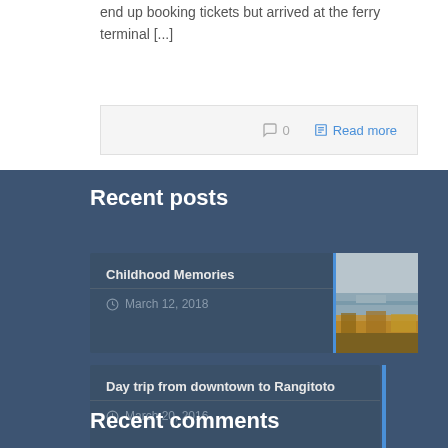end up booking tickets but arrived at the ferry terminal [...]
0   Read more
Recent posts
Childhood Memories
March 12, 2018
[Figure (photo): Waterfront scene with vegetation in foreground and water/dock in background under overcast sky]
Day trip from downtown to Rangitoto
March 20, 2016
Recent comments